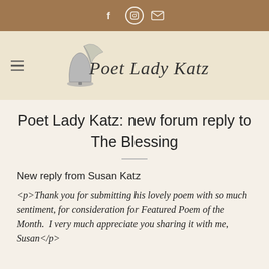f [instagram] [mail]
[Figure (logo): Poet Lady Katz logo with quill and bell illustration and cursive text]
Poet Lady Katz: new forum reply to The Blessing
New reply from Susan Katz
<p>Thank you for submitting his lovely poem with so much sentiment, for consideration for Featured Poem of the Month.  I very much appreciate you sharing it with me, Susan</p>